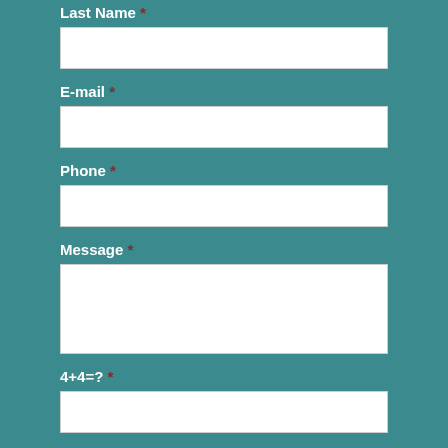Last Name *
[Figure (other): Empty text input field for Last Name]
E-mail *
[Figure (other): Empty text input field for E-mail]
Phone *
[Figure (other): Empty text input field for Phone]
Message *
[Figure (other): Empty textarea input field for Message]
4+4=? *
[Figure (other): Empty text input field for captcha answer]